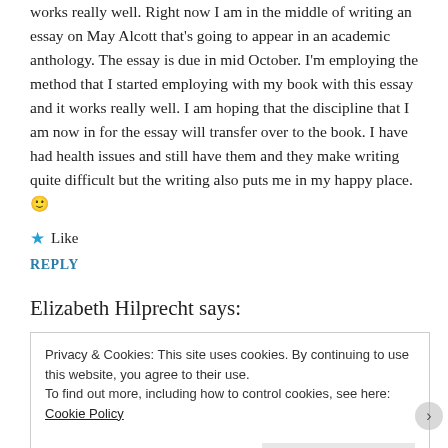works really well. Right now I am in the middle of writing an essay on May Alcott that's going to appear in an academic anthology. The essay is due in mid October. I'm employing the method that I started employing with my book with this essay and it works really well. I am hoping that the discipline that I am now in for the essay will transfer over to the book. I have had health issues and still have them and they make writing quite difficult but the writing also puts me in my happy place. 🙂
★ Like
REPLY
Elizabeth Hilprecht says:
Privacy & Cookies: This site uses cookies. By continuing to use this website, you agree to their use.
To find out more, including how to control cookies, see here: Cookie Policy
Close and accept